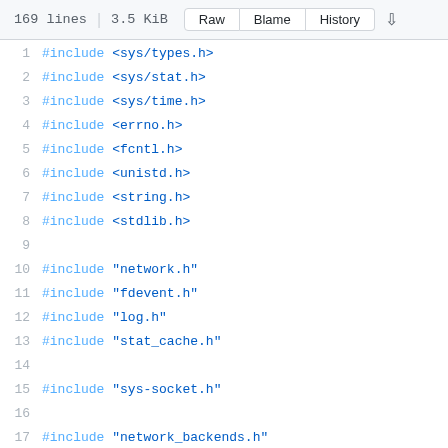169 lines | 3.5 KiB  Raw  Blame  History
1  #include <sys/types.h>
2  #include <sys/stat.h>
3  #include <sys/time.h>
4  #include <errno.h>
5  #include <fcntl.h>
6  #include <unistd.h>
7  #include <string.h>
8  #include <stdlib.h>
9
10  #include "network.h"
11  #include "fdevent.h"
12  #include "log.h"
13  #include "stat_cache.h"
14
15  #include "sys-socket.h"
16
17  #include "network_backends.h"
18
19  #ifdef HAVE_SYS_FILIO_H